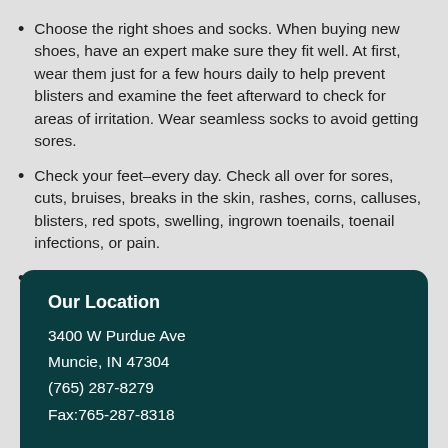Choose the right shoes and socks. When buying new shoes, have an expert make sure they fit well. At first, wear them just for a few hours daily to help prevent blisters and examine the feet afterward to check for areas of irritation. Wear seamless socks to avoid getting sores.
Check your feet–every day. Check all over for sores, cuts, bruises, breaks in the skin, rashes, corns, calluses, blisters, red spots, swelling, ingrown toenails, toenail infections, or pain.
Call your foot and ankle surgeon. If you develop any of the above problems, seek professional help immediately. Do not try to take care of cuts, sores, or infections yourself.
Our Location
3400 W Purdue Ave
Muncie, IN 47304
(765) 287-8279
Fax:765-287-8318